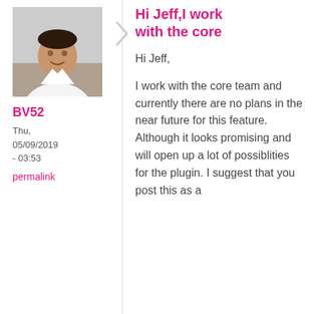[Figure (photo): Profile photo of a man in a white shirt, appears to be indoors]
BV52
Thu, 05/09/2019 - 03:53
permalink
Hi Jeff,I work with the core
Hi Jeff,

I work with the core team and currently there are no plans in the near future for this feature. Although it looks promising and will open up a lot of possiblities for the plugin. I suggest that you post this as a